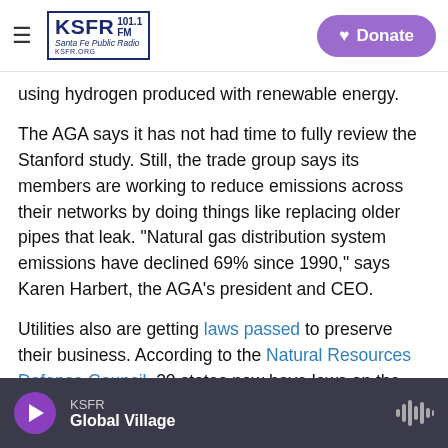KSFR 101.1 FM Santa Fe Public Radio | Donate
using hydrogen produced with renewable energy.
The AGA says it has not had time to fully review the Stanford study. Still, the trade group says its members are working to reduce emissions across their networks by doing things like replacing older pipes that leak. "Natural gas distribution system emissions have declined 69% since 1990," says Karen Harbert, the AGA's president and CEO.
Utilities also are getting laws passed to preserve their business. According to the Natural Resources Defense Council, 20 states now have laws on the
KSFR | Global Village